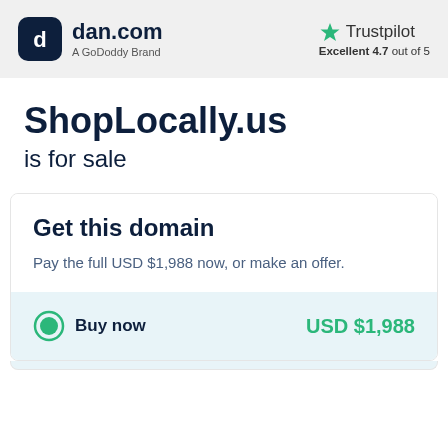[Figure (logo): dan.com logo — rounded square icon with 'd' letter mark, followed by 'dan.com' text and 'A GoDoddy Brand' subtitle]
[Figure (logo): Trustpilot green star logo with text 'Trustpilot' and rating 'Excellent 4.7 out of 5']
ShopLocally.us
is for sale
Get this domain
Pay the full USD $1,988 now, or make an offer.
Buy now
USD $1,988